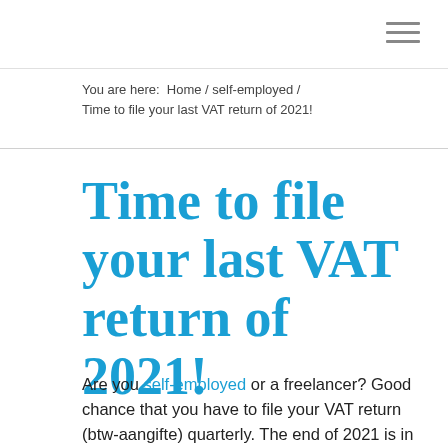You are here:  Home / self-employed / Time to file your last VAT return of 2021!
Time to file your last VAT return of 2021!
Are you self-employed or a freelancer? Good chance that you have to file your VAT return (btw-aangifte) quarterly. The end of 2021 is in sight, which also means that it's almost time for your…